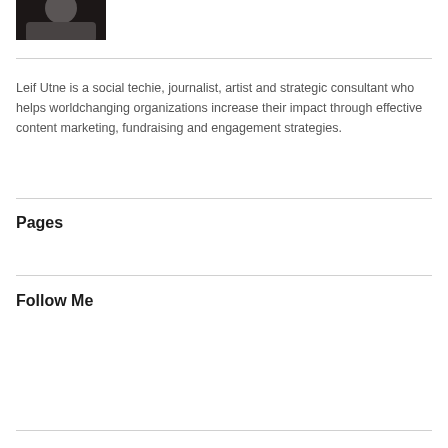[Figure (photo): Portrait photo of a person with gray hair and a scarf, dark background]
Leif Utne is a social techie, journalist, artist and strategic consultant who helps worldchanging organizations increase their impact through effective content marketing, fundraising and engagement strategies.
Pages
About Leif Utne
Follow Me